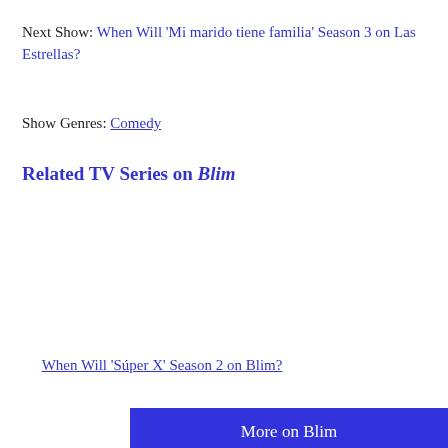Next Show: When Will 'Mi marido tiene familia' Season 3 on Las Estrellas?
Show Genres: Comedy
Related TV Series on Blim
When Will 'Súper X' Season 2 on Blim?
More on Blim